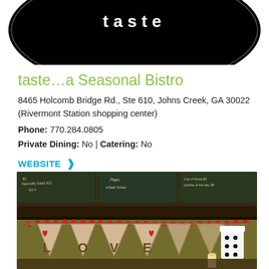[Figure (logo): Restaurant logo - black circular/oval shape with white text (partially visible at top of page)]
taste…a Seasonal Bistro
8465 Holcomb Bridge Rd., Ste 610, Johns Creek, GA 30022 (Rivermont Station shopping center)
Phone: 770.284.0805
Private Dining: No | Catering: No
WEBSITE ❯
MORE INFORMATION ❯
[Figure (photo): Interior photo of the bistro showing chalkboard menus on the wall and a burlap LOVE pennant banner with red heart decorations and red bead garland strung across a dark wood shelf/counter]